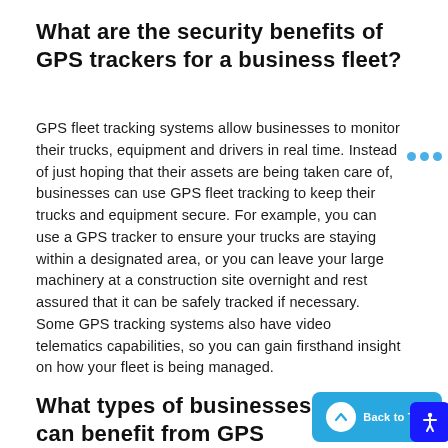What are the security benefits of GPS trackers for a business fleet?
GPS fleet tracking systems allow businesses to monitor their trucks, equipment and drivers in real time. Instead of just hoping that their assets are being taken care of, businesses can use GPS fleet tracking to keep their trucks and equipment secure. For example, you can use a GPS tracker to ensure your trucks are staying within a designated area, or you can leave your large machinery at a construction site overnight and rest assured that it can be safely tracked if necessary. Some GPS tracking systems also have video telematics capabilities, so you can gain firsthand insight on how your fleet is being managed.
What types of businesses can benefit from GPS tracking?